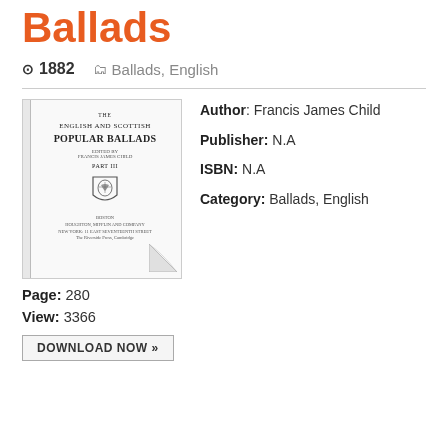Ballads
1882   Ballads, English
[Figure (photo): Book cover of 'The English and Scottish Popular Ballads' by Francis James Child, Part III, with a shield emblem and publisher details at the bottom, showing a slightly curled page corner at the bottom right.]
Author: Francis James Child
Publisher: N.A
ISBN: N.A
Category: Ballads, English
Page: 280
View: 3366
DOWNLOAD NOW »